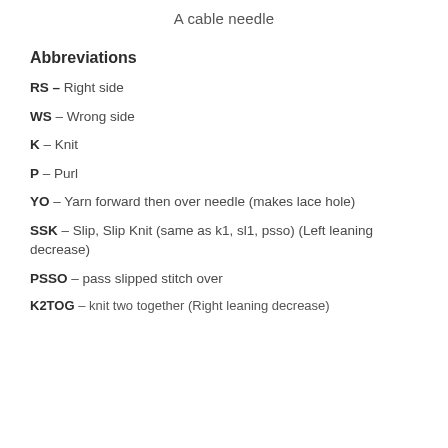A cable needle
Abbreviations
RS – Right side
WS – Wrong side
K – Knit
P – Purl
YO – Yarn forward then over needle (makes lace hole)
SSK – Slip, Slip Knit (same as k1, sl1, psso) (Left leaning decrease)
PSSO – pass slipped stitch over
K2TOG – knit two together (Right leaning decrease)